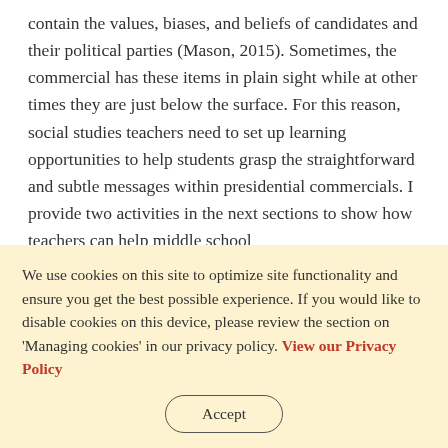contain the values, biases, and beliefs of candidates and their political parties (Mason, 2015). Sometimes, the commercial has these items in plain sight while at other times they are just below the surface. For this reason, social studies teachers need to set up learning opportunities to help students grasp the straightforward and subtle messages within presidential commercials. I provide two activities in the next sections to show how teachers can help middle school
We use cookies on this site to optimize site functionality and ensure you get the best possible experience. If you would like to disable cookies on this device, please review the section on 'Managing cookies' in our privacy policy. View our Privacy Policy
Accept